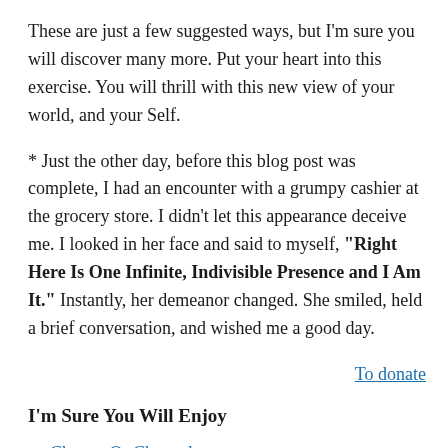These are just a few suggested ways, but I'm sure you will discover many more. Put your heart into this exercise. You will thrill with this new view of your world, and your Self.
* Just the other day, before this blog post was complete, I had an encounter with a grumpy cashier at the grocery store. I didn't let this appearance deceive me. I looked in her face and said to myself, "Right Here Is One Infinite, Indivisible Presence and I Am It." Instantly, her demeanor changed. She smiled, held a brief conversation, and wished me a good day.
To donate
I'm Sure You Will Enjoy
Change Or Changeless
You May Need To Flip It